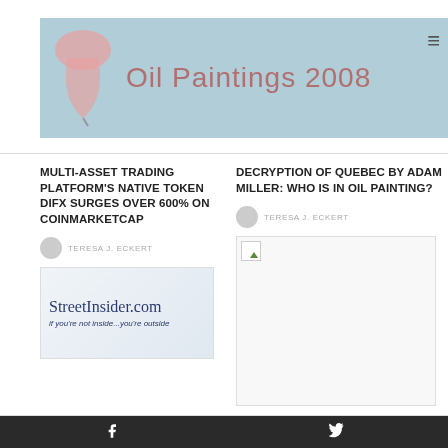[Figure (logo): Oil Paintings 2008 website header banner with light blue background, paint brush/drip logo on left, and site title in muted red-pink text]
MULTI-ASSET TRADING PLATFORM'S NATIVE TOKEN DIFX SURGES OVER 600% ON COINMARKETCAP
TERESA J. ECKERT
[Figure (photo): StreetInsider.com advertisement image with text 'StreetInsider.com' and tagline 'if you're not inside...you're outside']
DECRYPTION OF QUEBEC BY ADAM MILLER: WHO IS IN OIL PAINTING?
TERESA J. ECKERT
[Figure (photo): Broken/missing image placeholder]
OIL PLATFORM
Facebook Twitter social media icons